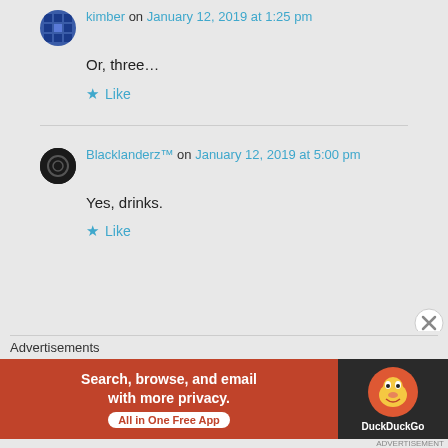kimber on January 12, 2019 at 1:25 pm
Or, three…
Like
Blacklanderz™ on January 12, 2019 at 5:00 pm
Yes, drinks.
Like
Advertisements
[Figure (other): DuckDuckGo advertisement banner: Search, browse, and email with more privacy. All in One Free App. Shows DuckDuckGo duck logo on dark background.]